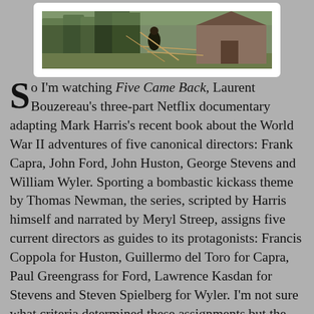[Figure (photo): A photograph showing a rural outdoor scene with trees and a wooden structure or barn in the background, displayed in a white-bordered frame against a gray background.]
So I'm watching Five Came Back, Laurent Bouzereau's three-part Netflix documentary adapting Mark Harris's recent book about the World War II adventures of five canonical directors: Frank Capra, John Ford, John Huston, George Stevens and William Wyler. Sporting a bombastic kickass theme by Thomas Newman, the series, scripted by Harris himself and narrated by Meryl Streep, assigns five current directors as guides to its protagonists: Francis Coppola for Huston, Guillermo del Toro for Capra, Paul Greengrass for Ford, Lawrence Kasdan for Stevens and Steven Spielberg for Wyler. I'm not sure what criteria determined these assignments but the modern directors' comments are usually interesting, particularly when Coppola defends Huston faking battle footage for his San Pietro. Anyway, the first episode climaxes with Capra's intellectual masterstroke of detourning Leni Riefenstahl for his Prelude to War and Ford's baptism of fire when the Japanese attacked Midway Island. Greengrass is understandably a big fan of the short documentary that resulted, even if Ford's shaky-cam effects